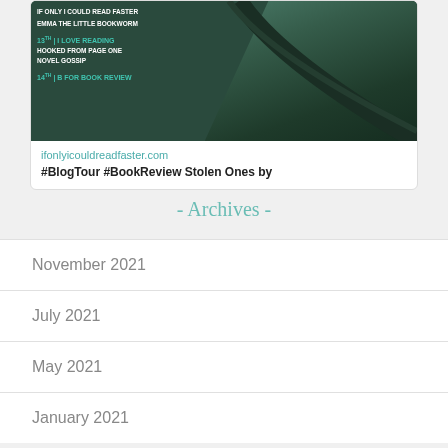[Figure (screenshot): Blog tour card showing website link ifonlyicouldreadfaster.com with blog stop dates and blog names, overlaid on a skate ramp image. Text includes 'IF ONLY I COULD READ FASTER', 'EMMA THE LITTLE BOOKWORM', '13TH | I LOVE READING', 'HOOKED FROM PAGE ONE', 'NOVEL GOSSIP', '14TH | B FOR BOOK REVIEW']
ifonlyicouldreadfaster.com
#BlogTour #BookReview Stolen Ones by
- Archives -
November 2021
July 2021
May 2021
January 2021